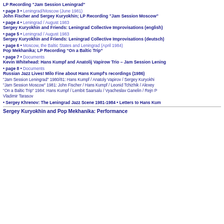LP Recording "Jam Session Leningrad"
• page 3 • Leningrad/Moscow (June 1981)
John Fischer and Sergey Kuryokhin; LP Recording "Jam Session Moscow"
• page 4 • Leningrad / August 1983
Sergey Kuryokhin and Friends: Leningrad Collective Improvisations (english)
• page 5 • Leningrad / August 1983
Sergey Kuryokhin and Friends: Leningrad Collective Improvisations (deutsch)
• page 6 • Moscow, the Baltic States and Leningrad (April 1984)
Pop Mekhanika; LP Recording “On a Baltic Trip”
• page 7 • Documents
Kevin Whitehead: Hans Kumpf and Anatolij Vapirow Trio – Jam Session Lening...
• page 8 • Documents
Russian Jazz Lives! Milo Fine about Hans Kumpf's recordings (1986)
"Jam Session Leningrad" 1980/81: Hans Kumpf / Anatoly Vapirov / Sergey Kuryokhi...
"Jam Session Moscow" 1981: John Fischer / Hans Kumpf / Leonid Tchizhik / Alexey ...
"On a Baltic Trip" 1984: Hans Kumpf / Lembit Saarsalu / Vyacheslav Ganelin / Rejn P...
Vladimir Tarasov
• Sergey Khrenov: The Leningrad Jazz Scene 1981-1984 • Letters to Hans Kum...
Sergey Kuryokhin and Pop Mekhanika: Performance...